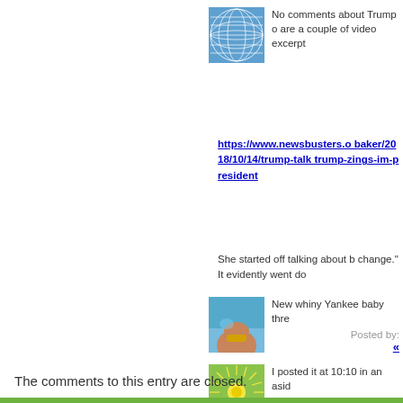No comments about Trump o are a couple of video excerpt
https://www.newsbusters.o baker/2018/10/14/trump-talk trump-zings-im-president
She started off talking about b change." It evidently went do
[Figure (illustration): Blue avatar with globe/grid pattern]
[Figure (photo): Beach/bikini avatar photo]
New whiny Yankee baby thre
Posted by:
[Figure (illustration): Green sun/starburst avatar]
I posted it at 10:10 in an asid
«
The comments to this entry are closed.